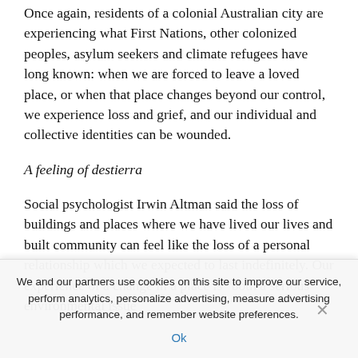Once again, residents of a colonial Australian city are experiencing what First Nations, other colonized peoples, asylum seekers and climate refugees have long known: when we are forced to leave a loved place, or when that place changes beyond our control, we experience loss and grief, and our individual and collective identities can be wounded.
A feeling of destierra
Social psychologist Irwin Altman said the loss of buildings and places where we have lived our lives and built community can feel like the loss of a personal relationship which we expected to last indefinitely. Our experience of a change in a place is "both a serious environmental issue
We and our partners use cookies on this site to improve our service, perform analytics, personalize advertising, measure advertising performance, and remember website preferences.
Ok